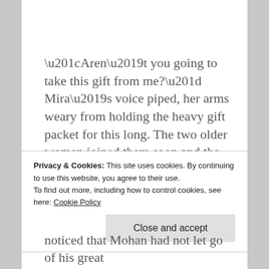“Aren’t you going to take this gift from me?” Mira’s voice piped, her arms weary from holding the heavy gift packet for this long. The two older women joined them soon and the foyer was now busy with everyone except… Khushi’s eyes searched surreptitiously.
Privacy & Cookies: This site uses cookies. By continuing to use this website, you agree to their use.
To find out more, including how to control cookies, see here: Cookie Policy
noticed that Mohan had not let go of his great